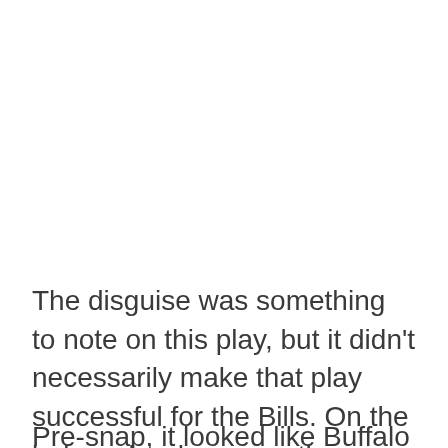The disguise was something to note on this play, but it didn't necessarily make that play successful for the Bills. On the below play, however, the disguise was a major factor.
Pre-snap, it looked like Buffalo was in man-